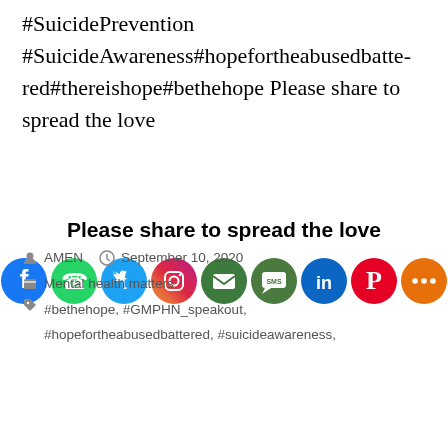#SuicidePrevention #SuicideAwareness#hopefortheabusedbattered#thereishope#bethehope Please share to spread the love
Please share to spread the love
[Figure (other): Social media share buttons: Facebook, WhatsApp, Twitter, Instagram, Email, SMS, LinkedIn, Pinterest, More]
AMEN   September 10, 2020
Mental health matters
#bethehope, #GMPHN_speakout, #hopefortheabusedbattered, #suicideawareness